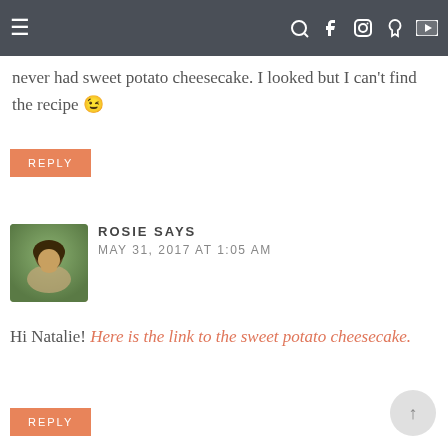Navigation bar with menu, search, Facebook, Instagram, Pinterest, YouTube icons
never had sweet potato cheesecake. I looked but I can't find the recipe 😉
REPLY
ROSIE SAYS
MAY 31, 2017 AT 1:05 AM
Hi Natalie! Here is the link to the sweet potato cheesecake.
REPLY